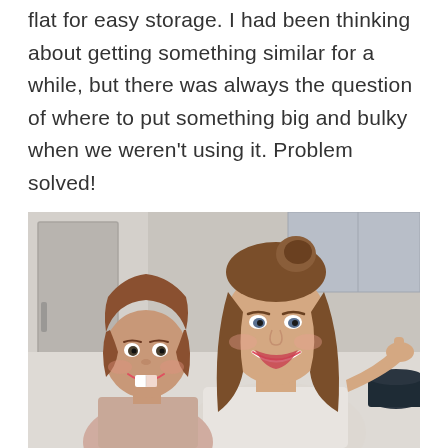flat for easy storage. I had been thinking about getting something similar for a while, but there was always the question of where to put something big and bulky when we weren't using it. Problem solved!
[Figure (photo): A smiling woman with long brown hair worn in a half-up bun, posing with a young child in a kitchen setting. The child has short brown hair and is smiling. Kitchen cabinets and a dark pot are visible in the background.]